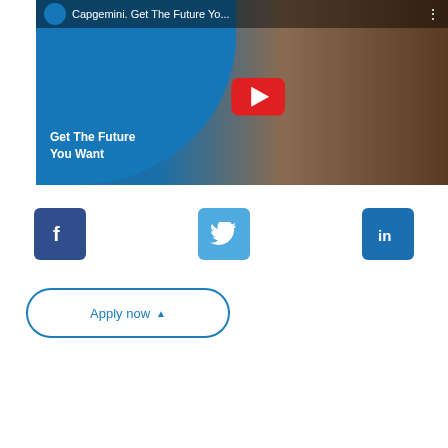[Figure (screenshot): YouTube video thumbnail for Capgemini 'Get The Future You Want' with a woman's face, YouTube play button, and blue Capgemini branding blob. Top bar shows 'Capgemini. Get The Future Yo...' title.]
[Figure (logo): Three social media icons: Facebook (dark blue), Twitter (light blue), LinkedIn (medium blue), arranged horizontally]
Apply now ▲